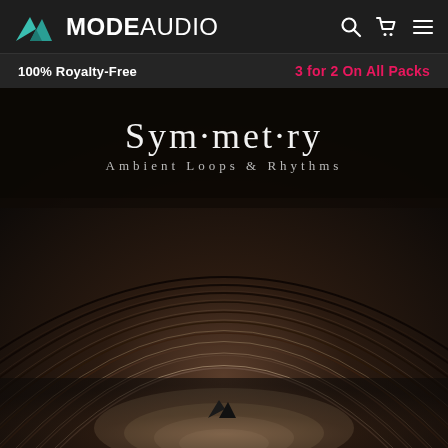[Figure (logo): ModeAudio logo with teal mountain/triangle icon and bold text MODE AUDIO, with search, cart, and menu icons on right]
100% Royalty-Free
3 for 2 On All Packs
[Figure (photo): Album art for Sym·met·ry - Ambient Loops & Rhythms by ModeAudio. Dark sepia-toned image showing concentric curved lines/rings on a dark textured background, with a small ModeAudio mountain logo at the bottom center. Title text 'Sym·met·ry' in large serif letters and 'Ambient Loops & Rhythms' below it.]